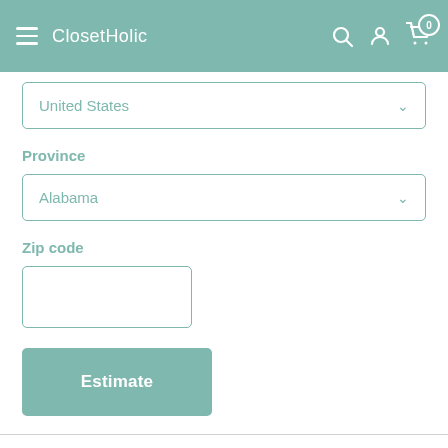ClosetHolic
United States
Province
Alabama
Zip code
Estimate
Refund Policy